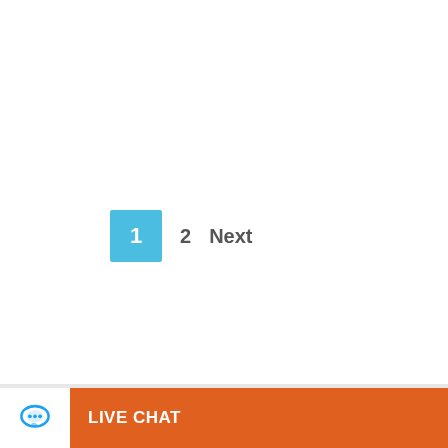1  2  Next
Archives
Select Month
[Figure (infographic): Social media share icons: Facebook (f), Twitter (bird), LinkedIn (in) — circular buttons on the right side]
LIVE CHAT